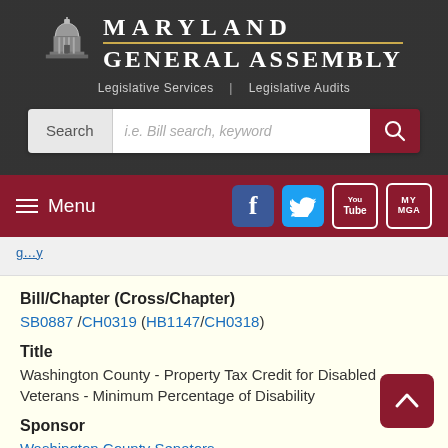[Figure (logo): Maryland General Assembly logo with capitol dome icon, title 'MARYLAND GENERAL ASSEMBLY', subtitle 'Legislative Services | Legislative Audits', and a search bar below]
[Figure (screenshot): Navigation bar with hamburger Menu button and social media icons: Facebook, Twitter, YouTube, MyMGA]
Bill/Chapter (Cross/Chapter)
SB0887 /CH0319 (HB1147/CH0318)
Title
Washington County - Property Tax Credit for Disabled Veterans - Minimum Percentage of Disability
Sponsor
Washington County Senators